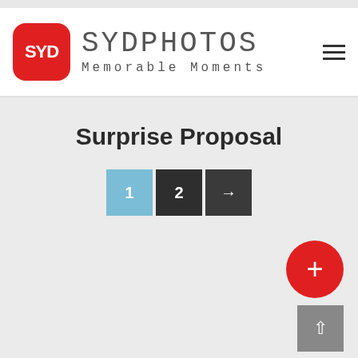[Figure (logo): SydPhotos logo with red rounded square icon showing 'SYD' text, followed by 'SYDPHOTOS Memorable Moments' branding and a hamburger menu icon]
Surprise Proposal
[Figure (screenshot): Pagination buttons showing '1' (light blue, active), '2' (dark), and '>' next arrow (dark)]
[Figure (other): Red circular floating action button with white plus '+' sign in lower right]
[Figure (other): Grey square scroll-to-top button with white upward arrow in bottom right corner]